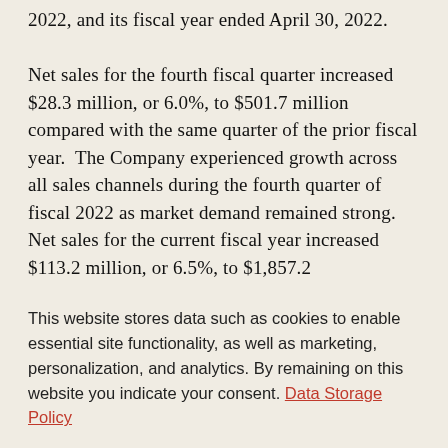2022, and its fiscal year ended April 30, 2022.

Net sales for the fourth fiscal quarter increased $28.3 million, or 6.0%, to $501.7 million compared with the same quarter of the prior fiscal year.  The Company experienced growth across all sales channels during the fourth quarter of fiscal 2022 as market demand remained strong. Net sales for the current fiscal year increased $113.2 million, or 6.5%, to $1,857.2
This website stores data such as cookies to enable essential site functionality, as well as marketing, personalization, and analytics. By remaining on this website you indicate your consent. Data Storage Policy